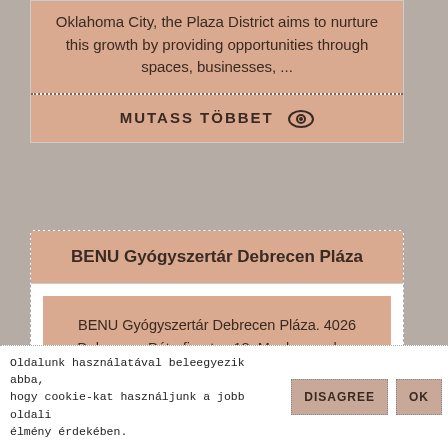Oklahoma City, the Plaza District aims to nurture this growth by providing opportunities through spaces, businesses, ...
MUTASS TÖBBET
BENU Gyógyszertár Debrecen Pláza
BENU Gyógyszertár Debrecen Pláza. 4026 Debrecen, Péterfia utca 18. Munkanapokon hétfőtől - péntekig: 8.00-20.00 óráig. Szombaton és pihenőnapon: 9.00-20.00 ...
Oldalunk használatával beleegyezik abba, hogy cookie-kat használjunk a jobb oldali élmény érdekében. DISAGREE OK